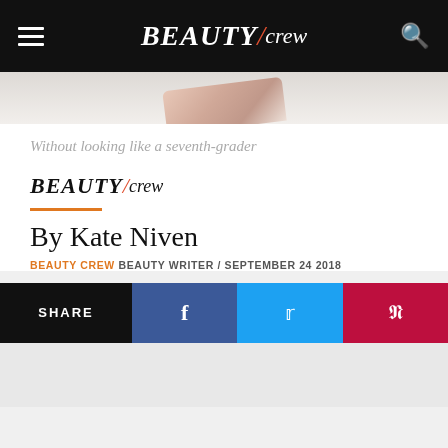BEAUTY/crew
[Figure (photo): Partial hero image showing a beauty product, cropped at the top of the article]
Without looking like a seventh-grader
[Figure (logo): BEAUTY/crew logo in black and red]
By Kate Niven
BEAUTY CREW BEAUTY WRITER / SEPTEMBER 24 2018
SHARE